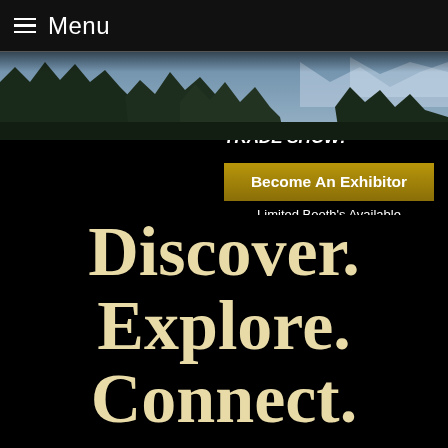≡ Menu
THE WORLD'S LARGEST ONLINE ADVENTURE TRADE SHOW!
Become An Exhibitor
Limited Booth's Available
[Figure (photo): Forested mountain landscape banner image with trees and mountains in the background]
Discover. Explore. Connect.
Connecting you with the best adventures worldwide.